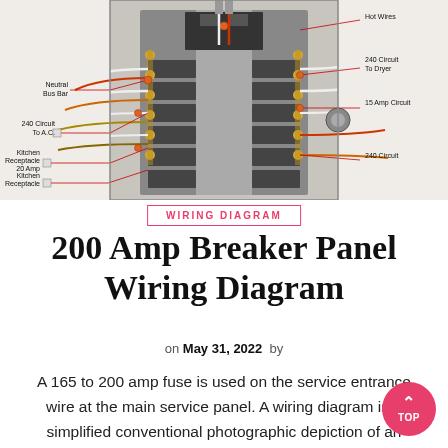[Figure (schematic): 200 Amp Breaker Panel wiring diagram showing internal components: Neutral Bus Bar, Hot Wires, 240 Circuit To A.C., 240 Circuit To Dryer, Kitchen Receptacle 20 Amp, Kitchen Receptacle, 15 Amp Circuit, 240 Circuit labels with lead lines pointing to components inside an electrical panel cutaway illustration.]
WIRING DIAGRAM
200 Amp Breaker Panel Wiring Diagram
on May 31, 2022 by
A 165 to 200 amp fuse is used on the service entrance wire at the main service panel. A wiring diagram is a simplified conventional photographic depiction of an electric circuit. Pin On Breakers Load Centers Fuses 200